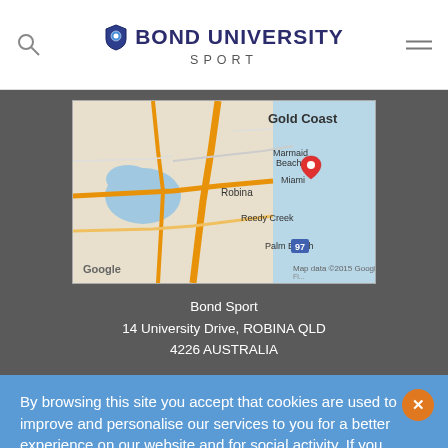BOND UNIVERSITY SPORT
[Figure (map): Google Map showing Gold Coast area, Queensland Australia, with a red location pin near Mermaid Beach/Robina area. Map shows Gold Coast, Marmaid Beach, Miami, Robina, Reedy Creek, Palm Beach. Map data ©2015 Google.]
Bond Sport
14 University Drive, ROBINA QLD
4226 AUSTRALIA
By browsing this site you accept that cookies are used to improve and personalise our services to you for a better experience on our website and for social activity. If you continue, we will assume that you agree to our use of cookies statement.